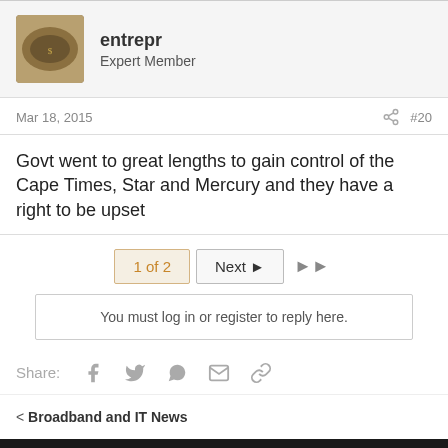entrepr
Expert Member
Mar 18, 2015  #20
Govt went to great lengths to gain control of the Cape Times, Star and Mercury and they have a right to be upset
1 of 2  Next  ▶▶
You must log in or register to reply here.
Share:
< Broadband and IT News
✏ Default Style
Terms and rules  Privacy policy  Help  Home  [RSS]